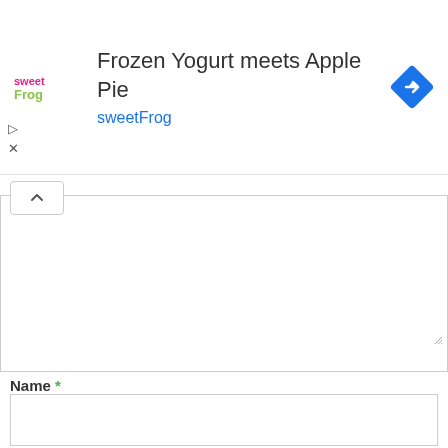[Figure (screenshot): sweetFrog ad banner with logo, title 'Frozen Yogurt meets Apple Pie', brand name 'sweetFrog' in color, and a blue diamond navigation icon on the right]
Name *
Email *
Website